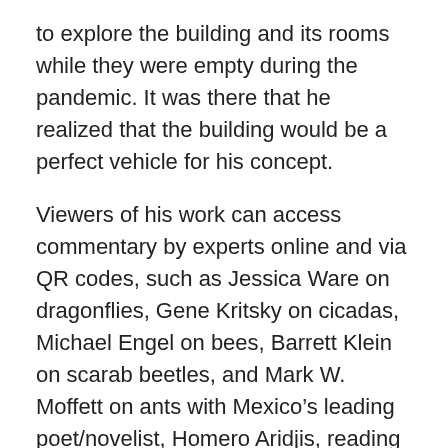to explore the building and its rooms while they were empty during the pandemic. It was there that he realized that the building would be a perfect vehicle for his concept.
Viewers of his work can access commentary by experts online and via QR codes, such as Jessica Ware on dragonflies, Gene Kritsky on cicadas, Michael Engel on bees, Barrett Klein on scarab beetles, and Mark W. Moffett on ants with Mexico’s leading poet/novelist, Homero Aridjis, reading his poem “A Una Mariposa Monarcha.” The audio talks are accompanied by the insect-inspired music of David Rothenberg. All of this plus downloadable coloring book art will be available on January 7 at nypl.org/intersects.
“There are roughly 10 quintillion insects on Earth,” Kuper says. “They touch everything we do in our daily lives, our